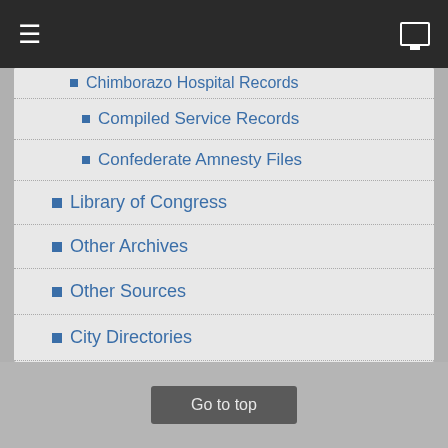Navigation menu bar
Chimborazo Hospital Records
Compiled Service Records
Confederate Amnesty Files
Library of Congress
Other Archives
Other Sources
City Directories
Books Bibliography
Periodicals Bibliography
Centennial Publications
By Year of Publication
Go to top